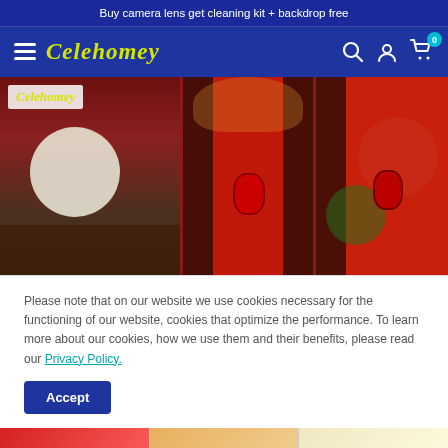Buy camera lens get cleaning kit + backdrop free
[Figure (logo): Celehomey store logo and navigation bar with hamburger menu, search, account, and cart icons]
[Figure (photo): Chinese new year themed photography backdrops showing traditional architecture with red lanterns and floral decorations. Left panel shows interior studio with ink painting. Right panels show red background with peony flowers and lattice gates.]
Please note that on our website we use cookies necessary for the functioning of our website, cookies that optimize the performance. To learn more about our cookies, how we use them and their benefits, please read our Privacy Policy.
Accept